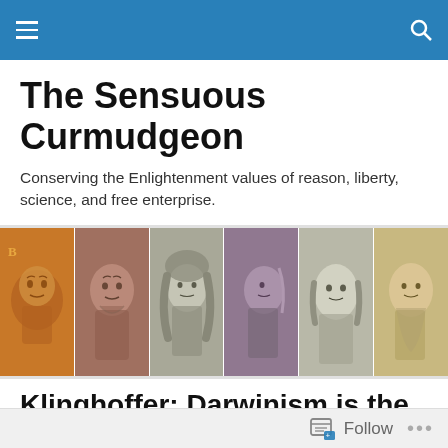Navigation bar with menu and search icons
The Sensuous Curmudgeon
Conserving the Enlightenment values of reason, liberty, science, and free enterprise.
[Figure (photo): Banner strip of six historical figures: Aristotle on an orange coin, Galileo portrait, Isaac Newton portrait, Benjamin Franklin profile on currency, Benjamin Franklin on $100 bill, Charles Darwin portrait]
Klinghoffer: Darwinism is the Path to Putrefaction
W
Follow